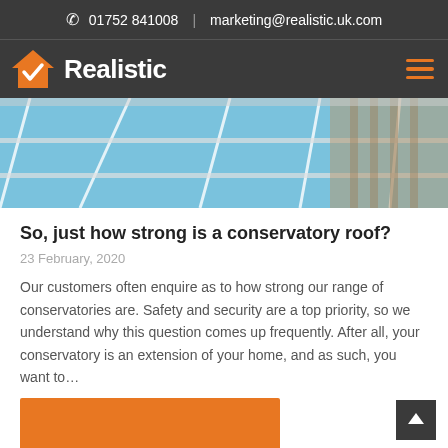01752 841008  |  marketing@realistic.uk.com
[Figure (logo): Realistic company logo with orange house/checkmark icon and white bold text 'Realistic' on dark background]
[Figure (photo): Close-up photo of conservatory glass roof panels being installed, showing blue sky through the glass panels and workers on the roof]
So, just how strong is a conservatory roof?
23 February, 2020
Our customers often enquire as to how strong our range of conservatories are. Safety and security are a top priority, so we understand why this question comes up frequently. After all, your conservatory is an extension of your home, and as such, you want to…